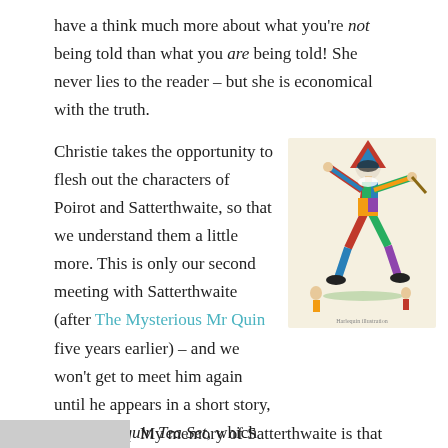have a think much more about what you're not being told than what you are being told! She never lies to the reader – but she is economical with the truth.
Christie takes the opportunity to flesh out the characters of Poirot and Satterthwaite, so that we understand them a little more. This is only our second meeting with Satterthwaite (after The Mysterious Mr Quin five years earlier) – and we won't get to meet him again until he appears in a short story, The Harlequin Tea Set, which wasn't published in the UK until 1991 – so it'll be a long time before I get around to reading that one.
[Figure (illustration): A colourful illustration of a Harlequin figure in a diamond-patterned costume, wearing a black mask, holding a stick, in a dynamic pose. Small figures in background.]
My memory of Satterthwaite is that